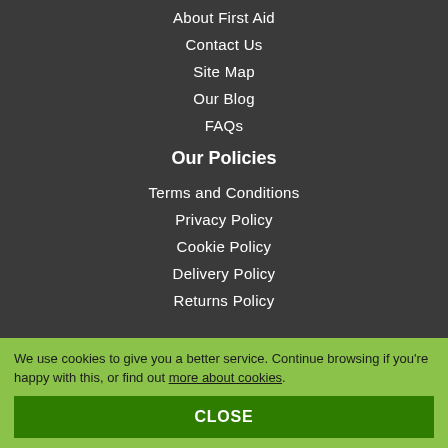About First Aid
Contact Us
Site Map
Our Blog
FAQs
Our Policies
Terms and Conditions
Privacy Policy
Cookie Policy
Delivery Policy
Returns Policy
We use cookies to give you a better service. Continue browsing if you're happy with this, or find out more about cookies.
CLOSE